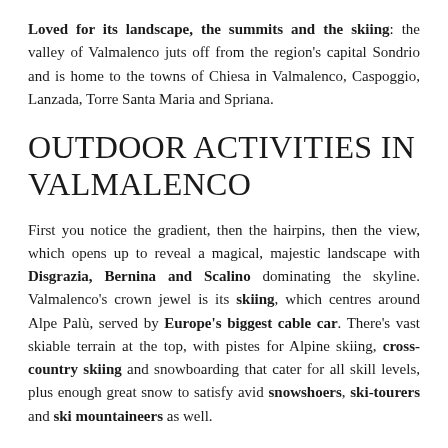Loved for its landscape, the summits and the skiing: the valley of Valmalenco juts off from the region's capital Sondrio and is home to the towns of Chiesa in Valmalenco, Caspoggio, Lanzada, Torre Santa Maria and Spriana.
OUTDOOR ACTIVITIES IN VALMALENCO
First you notice the gradient, then the hairpins, then the view, which opens up to reveal a magical, majestic landscape with Disgrazia, Bernina and Scalino dominating the skyline. Valmalenco's crown jewel is its skiing, which centres around Alpe Palù, served by Europe's biggest cable car. There's vast skiable terrain at the top, with pistes for Alpine skiing, cross-country skiing and snowboarding that cater for all skill levels, plus enough great snow to satisfy avid snowshoers, ski-tourers and ski mountaineers as well.